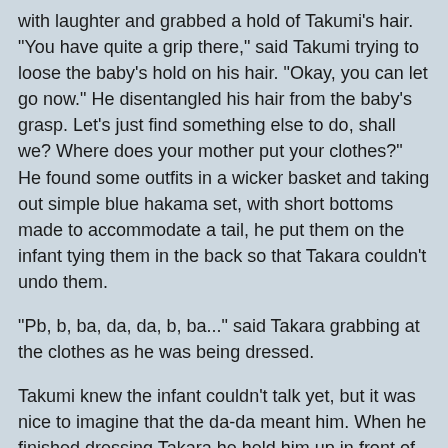with laughter and grabbed a hold of Takumi's hair. "You have quite a grip there," said Takumi trying to loose the baby's hold on his hair. "Okay, you can let go now." He disentangled his hair from the baby's grasp. Let's just find something else to do, shall we? Where does your mother put your clothes?" He found some outfits in a wicker basket and taking out simple blue hakama set, with short bottoms made to accommodate a tail, he put them on the infant tying them in the back so that Takara couldn't undo them.
"Pb, b, ba, da, da, b, ba..." said Takara grabbing at the clothes as he was being dressed.
Takumi knew the infant couldn't talk yet, but it was nice to imagine that the da-da meant him. When he finished dressing Takara he held him up in front of his face, nearly touching noses. "Now that you smell so much better, and are all dressed up, lets find something to do," he said, moving the baby out of reach of his hair when he saw Takara make another grab for it.
He took Takara into the room he had just left and placed him on the floor, pulling over a small basket of toys. There he spent the next half an hour seeing how long Takara could sit up, handing him toys to grab and handle which the baby eventually stuffed into his little mouth and slobbered on (which meant Takumi had to clean them off before putting them back in the basket), watching him roll over... all the while talking meaningless